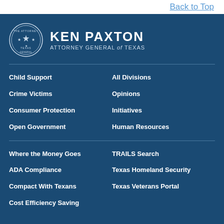Back to Top
[Figure (logo): Texas Attorney General seal logo]
KEN PAXTON
ATTORNEY GENERAL of TEXAS
Child Support
All Divisions
Crime Victims
Opinions
Consumer Protection
Initiatives
Open Government
Human Resources
Where the Money Goes
TRAILS Search
ADA Compliance
Texas Homeland Security
Compact With Texans
Texas Veterans Portal
Cost Efficiency Saving